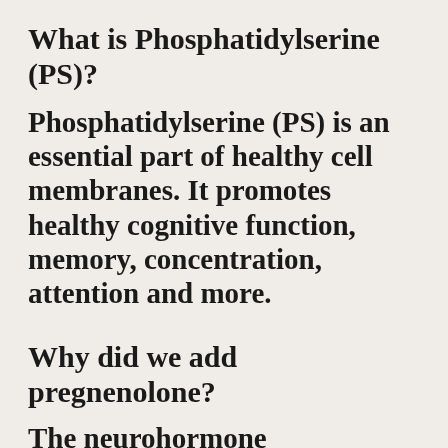What is Phosphatidylserine (PS)?
Phosphatidylserine (PS) is an essential part of healthy cell membranes. It promotes healthy cognitive function, memory, concentration, attention and more.
Why did we add pregnenolone?
The neurohormone pregnenolone modulates brain plasticity to help maintain healthy cognitive function